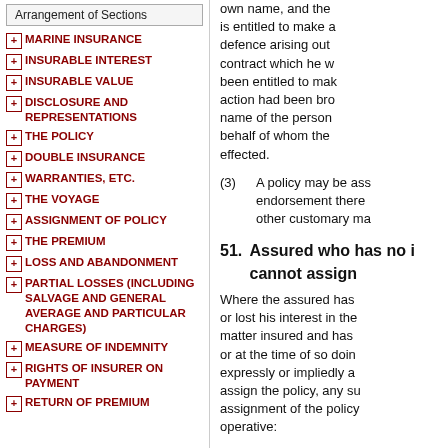Arrangement of Sections
MARINE INSURANCE
INSURABLE INTEREST
INSURABLE VALUE
DISCLOSURE AND REPRESENTATIONS
THE POLICY
DOUBLE INSURANCE
WARRANTIES, ETC.
THE VOYAGE
ASSIGNMENT OF POLICY
THE PREMIUM
LOSS AND ABANDONMENT
PARTIAL LOSSES (INCLUDING SALVAGE AND GENERAL AVERAGE AND PARTICULAR CHARGES)
MEASURE OF INDEMNITY
RIGHTS OF INSURER ON PAYMENT
RETURN OF PREMIUM
own name, and the defendant is entitled to make any defence arising out of the contract which he would have been entitled to make if the action had been brought in the name of the person on whose behalf of whom the policy was effected.
(3) A policy may be assigned by endorsement thereon or in any other customary manner.
51. Assured who has no interest cannot assign
Where the assured has parted or lost his interest in the subject-matter insured and has not, before or at the time of so doing, expressly or impliedly agreed to assign the policy, any subsequent assignment of the policy is inoperative:
Provided that this section does not affect